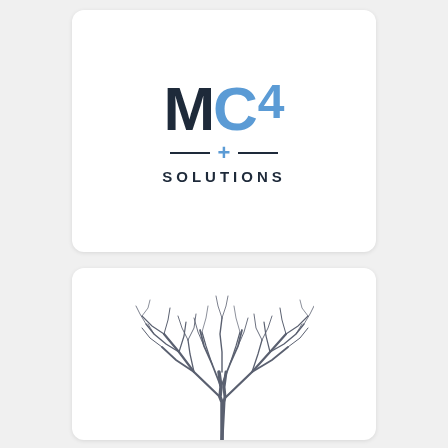[Figure (logo): MC4 Solutions logo. Large dark navy letters 'MC' with a blue '4' and blue '+' symbol below, flanked by two horizontal dashes on either side, and the word 'SOLUTIONS' in spaced uppercase letters beneath.]
[Figure (logo): A bare winter tree with many branching limbs rendered in dark gray/slate, with partial text visible at the bottom edge.]